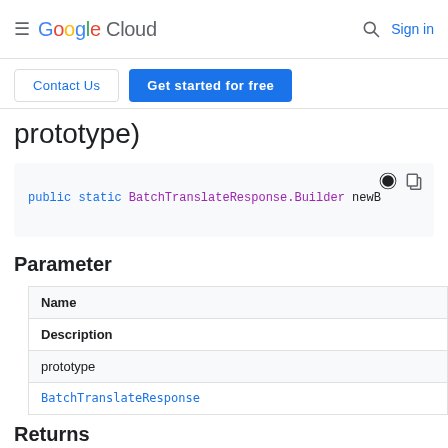≡ Google Cloud  🔍 Sign in
[Figure (screenshot): Contact Us and Get started for free buttons]
prototype)
[Figure (screenshot): Code block: public static BatchTranslateResponse.Builder newB]
Parameter
| Name | Description |
| --- | --- |
| prototype | BatchTranslateResponse |
Returns